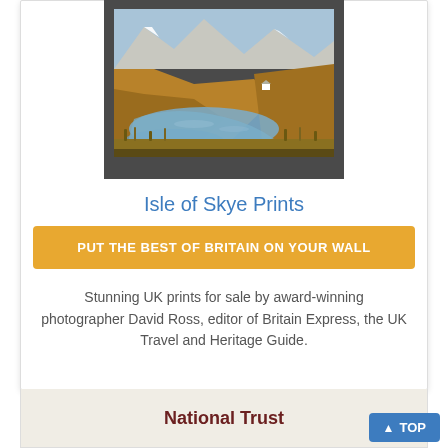[Figure (photo): Landscape photograph of the Isle of Skye showing a golden hillside with snow-capped mountains in the background, a blue loch/estuary in the foreground with marsh grasses, and a small white cottage visible on the hillside. The photo is displayed in a dark grey mount/frame.]
Isle of Skye Prints
PUT THE BEST OF BRITAIN ON YOUR WALL
Stunning UK prints for sale by award-winning photographer David Ross, editor of Britain Express, the UK Travel and Heritage Guide.
National Trust